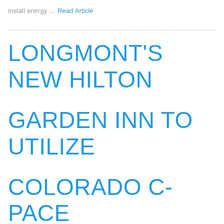install energy … Read Article
LONGMONT'S NEW HILTON GARDEN INN TO UTILIZE COLORADO C-PACE